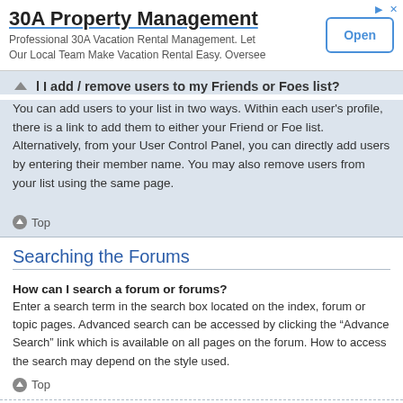[Figure (infographic): Advertisement banner for 30A Property Management with an Open button]
How do I add / remove users to my Friends or Foes list?
You can add users to your list in two ways. Within each user's profile, there is a link to add them to either your Friend or Foe list. Alternatively, from your User Control Panel, you can directly add users by entering their member name. You may also remove users from your list using the same page.
Top
Searching the Forums
How can I search a forum or forums?
Enter a search term in the search box located on the index, forum or topic pages. Advanced search can be accessed by clicking the “Advance Search” link which is available on all pages on the forum. How to access the search may depend on the style used.
Top
Why does my search return no results?
Your search was probably too vague and included many common terms which are not indexed by phpBB. Be more specific and use the options available within